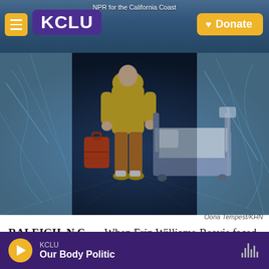KCLU — NPR for the California Coast — Donate
[Figure (illustration): Illustration of a person in a yellow hoodie and orange pants carrying a red suitcase, standing beside a hospital bed. Artistic editorial style with blue tones in the background.]
Oona Tempest/KHN
RALEIGH, N.C. — When Erin Williams-Reavis faced a $3,500 surgery bill, the hospital offered to let her pay in $300 monthly installments. It was too much, said Williams-Reavis, 44, who lives in Greensboro,
KCLU — Our Body Politic